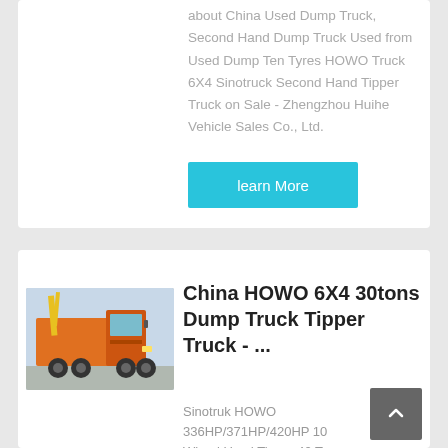about China Used Dump Truck, Second Hand Dump Truck Used from Used Dump Ten Tyres HOWO Truck 6X4 Sinotruck Second Hand Tipper Truck on Sale - Zhengzhou Huihe Vehicle Sales Co., Ltd.
learn More
[Figure (photo): Orange HOWO 6X4 dump truck / tipper truck viewed from the side, parked outdoors]
China HOWO 6X4 30tons Dump Truck Tipper Truck - ...
Sinotruk HOWO 336HP/371HP/420HP 10 Wheel Used Tipper 40 Tons Dump